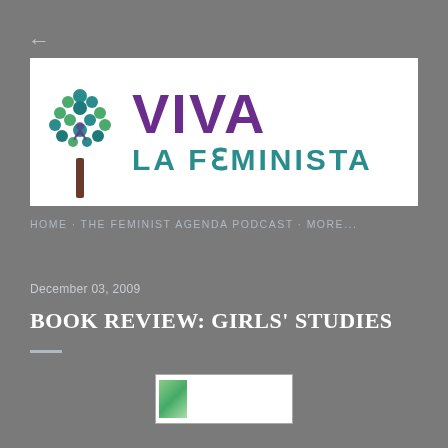[Figure (logo): Viva La Feminista blog logo with purple tree illustration and teal/purple text]
HOME · THE FEMINIST AGENDA PODCAST · MORE...
December 03, 2009
BOOK REVIEW: GIRLS' STUDIES
[Figure (photo): Small thumbnail image placeholder for book cover]